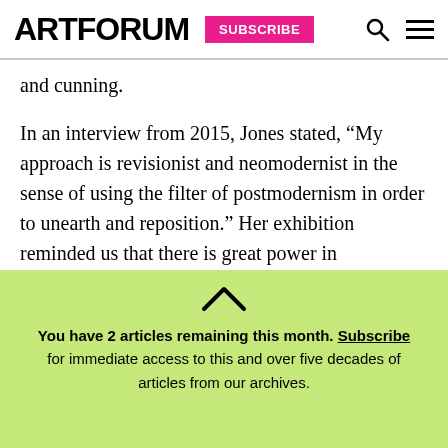ARTFORUM | SUBSCRIBE
and cunning.
In an interview from 2015, Jones stated, “My approach is revisionist and neomodernist in the sense of using the filter of postmodernism in order to unearth and reposition.” Her exhibition reminded us that there is great power in appropriating histories, rerouting cultural heritages, and imbuing reductive visual systems with new sets of consequences and interpretations. In this light, the
You have 2 articles remaining this month. Subscribe for immediate access to this and over five decades of articles from our archives.